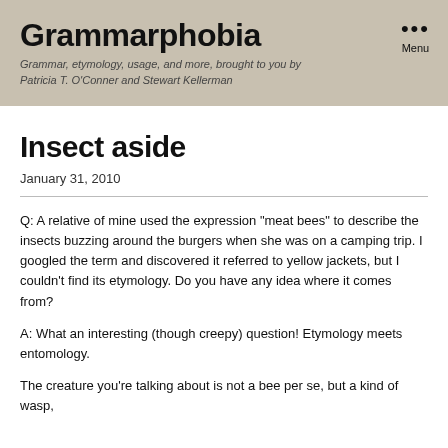Grammarphobia
Grammar, etymology, usage, and more, brought to you by Patricia T. O'Conner and Stewart Kellerman
Insect aside
January 31, 2010
Q: A relative of mine used the expression “meat bees” to describe the insects buzzing around the burgers when she was on a camping trip. I googled the term and discovered it referred to yellow jackets, but I couldn’t find its etymology. Do you have any idea where it comes from?
A: What an interesting (though creepy) question! Etymology meets entomology.
The creature you’re talking about is not a bee per se, but a kind of wasp,